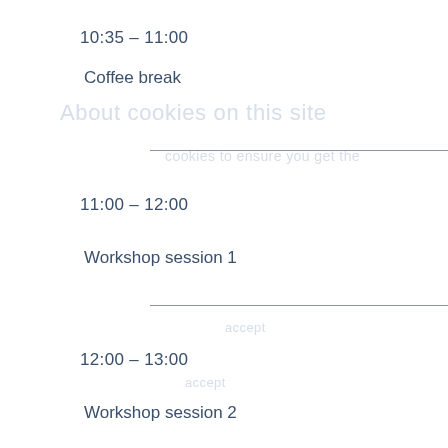10:35 – 11:00
Coffee break
11:00 – 12:00
Workshop session 1
12:00 – 13:00
Workshop session 2